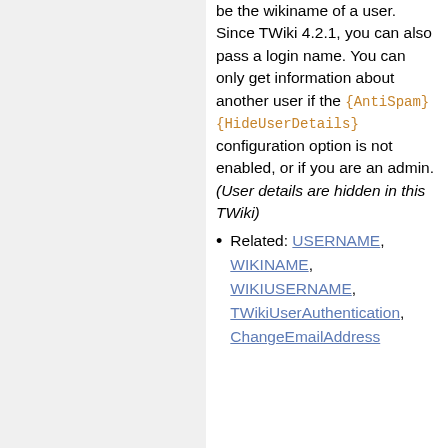be the wikiname of a user. Since TWiki 4.2.1, you can also pass a login name. You can only get information about another user if the {AntiSpam}{HideUserDetails} configuration option is not enabled, or if you are an admin. (User details are hidden in this TWiki)
Related: USERNAME, WIKINAME, WIKIUSERNAME, TWikiUserAuthentication, ChangeEmailAddress